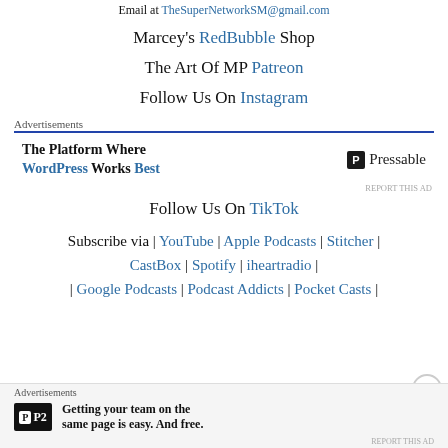Email at TheSuperNetworkSM@gmail.com
Marcey's RedBubble Shop
The Art Of MP Patreon
Follow Us On Instagram
Advertisements
[Figure (infographic): Advertisement: The Platform Where WordPress Works Best — Pressable]
Follow Us On TikTok
Subscribe via | YouTube | Apple Podcasts | Stitcher | CastBox | Spotify | iheartradio | | Google Podcasts | Podcast Addicts | Pocket Casts |
Advertisements
[Figure (infographic): P2 advertisement: Getting your team on the same page is easy. And free.]